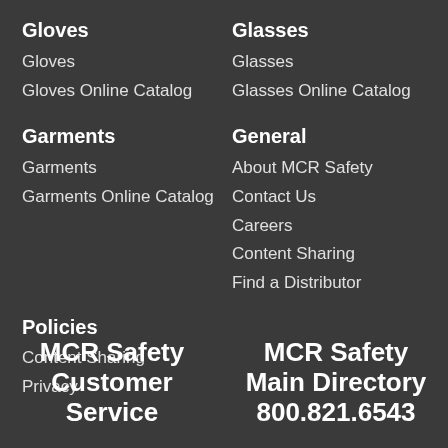Gloves
Gloves
Gloves Online Catalog
Glasses
Glasses
Glasses Online Catalog
Garments
Garments
Garments Online Catalog
General
About MCR Safety
Contact Us
Careers
Content Sharing
Find a Distributor
Policies
Content Sharing
Privacy
MCR Safety Customer Service
MCR Safety Main Directory 800.821.6543